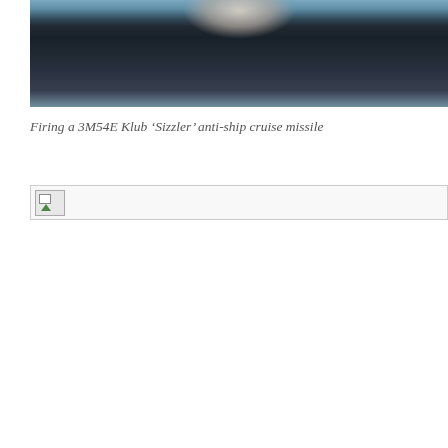[Figure (photo): A naval warship deck photograph showing the firing of a 3M54E Klub 'Sizzler' anti-ship cruise missile. Smoke and fire visible from the launcher on the ship's bow, with ocean visible in the background.]
Firing a 3M54E Klub ‘Sizzler’ anti-ship cruise missile
[Figure (photo): A second image that appears broken/missing (shown as a broken image icon placeholder).]